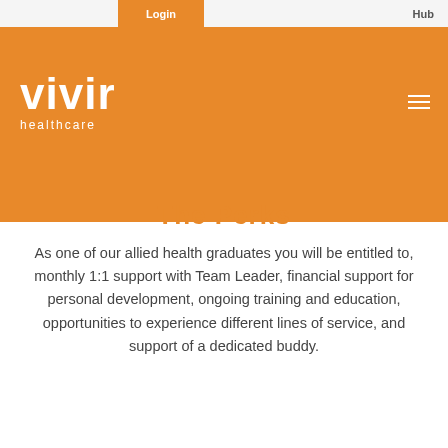Login  Hub
[Figure (logo): Vivir Healthcare logo - white text on orange background showing 'vivir' in large bold font and 'healthcare' below in smaller text]
The Perks
As one of our allied health graduates you will be entitled to, monthly 1:1 support with Team Leader, financial support for personal development, ongoing training and education, opportunities to experience different lines of service, and support of a dedicated buddy.